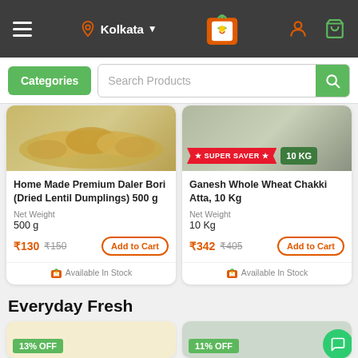[Figure (screenshot): Mobile app navigation bar with hamburger menu, Kolkata location selector, grocery shopping app logo, user icon, and cart icon on dark background]
[Figure (screenshot): Search bar with green Categories button and Search Products input field with green search icon button]
[Figure (photo): Product image for Home Made Premium Daler Bori (Dried Lentil Dumplings) 500g]
Home Made Premium Daler Bori (Dried Lentil Dumplings) 500 g
Net Weight
500 g
₹130  ₹150  Add to Cart
Available In Stock
[Figure (photo): Product image for Ganesh Whole Wheat Chakki Atta 10 Kg with SUPER SAVER ribbon and 10 KG badge]
Ganesh Whole Wheat Chakki Atta, 10 Kg
Net Weight
10 Kg
₹342  ₹405  Add to Cart
Available In Stock
Everyday Fresh
13% OFF
11% OFF